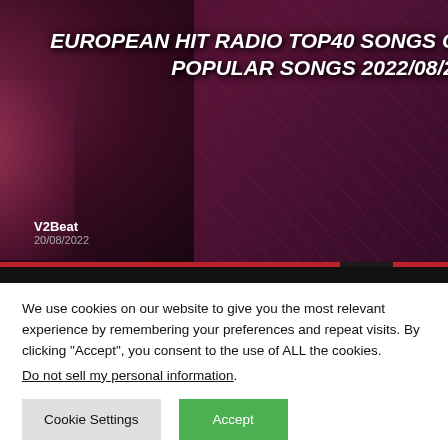[Figure (screenshot): Video thumbnail for 'European Hit Radio Top40 Songs of the Week Popular Songs 2022/08/20' by V2Beat channel, dated 20/08/2022. Dark purple/pink background with a woman figure. Yellow diagonal shape and red hamburger menu button on the right side.]
We use cookies on our website to give you the most relevant experience by remembering your preferences and repeat visits. By clicking "Accept", you consent to the use of ALL the cookies.
Do not sell my personal information.
Cookie Settings
Accept